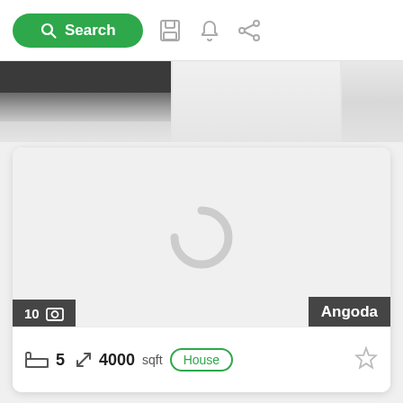[Figure (screenshot): Top navigation bar with green Search button, save icon, bell icon, and share icon]
[Figure (photo): Partial property image strip showing a dark building/tree silhouette image on the left and two grey placeholder panels]
[Figure (screenshot): Property listing card with loading spinner, image count badge showing '10' with photo icon, location badge 'Angoda', and property details: bed icon, 5 bedrooms, 4000 sqft, House type badge, star/favorite button]